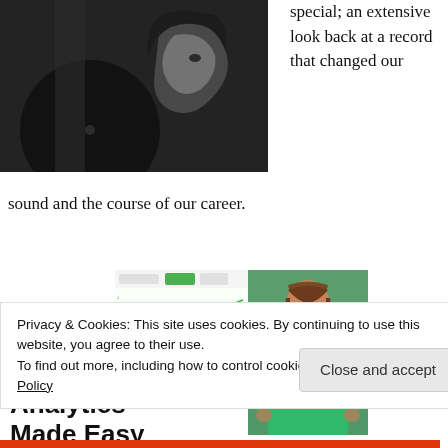[Figure (photo): Black and white photo of a woman with short dark hair lying next to a vinyl record or magazine]
special; an extensive look back at a record that changed our sound and the course of our career.
[Figure (screenshot): Screenshot of a content analytics dashboard with a green area chart and toolbar]
[Figure (photo): Photo of a woman in a green sweater smiling, standing in an office setting]
Content Analytics Made Easy
Privacy & Cookies: This site uses cookies. By continuing to use this website, you agree to their use.
To find out more, including how to control cookies, see here: Cookie Policy
Close and accept